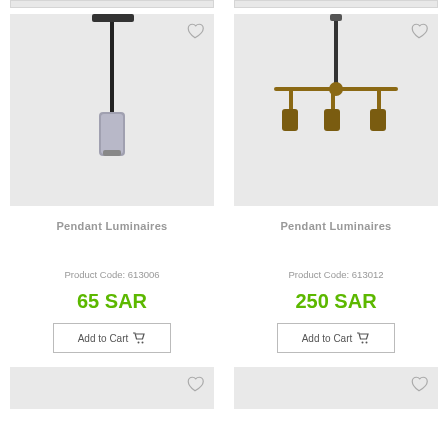[Figure (photo): Pendant luminaire product photo - single cylindrical pendant light in silver/chrome finish on gray background]
[Figure (photo): Pendant luminaires product photo - multi-arm chandelier with gold/bronze finish pendants on gray background]
Pendant Luminaires
Pendant Luminaires
Product Code: 613006
Product Code: 613012
65 SAR
250 SAR
Add to Cart
Add to Cart
[Figure (photo): Partial view of another pendant luminaire product on gray background (bottom, left)]
[Figure (photo): Partial view of another pendant luminaire product on gray background (bottom, right)]